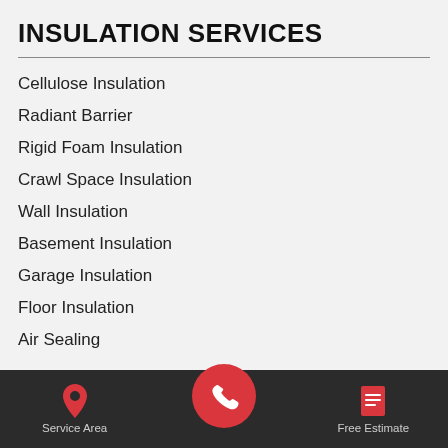INSULATION SERVICES
Cellulose Insulation
Radiant Barrier
Rigid Foam Insulation
Crawl Space Insulation
Wall Insulation
Basement Insulation
Garage Insulation
Floor Insulation
Air Sealing
Service Area | [phone] | Free Estimate